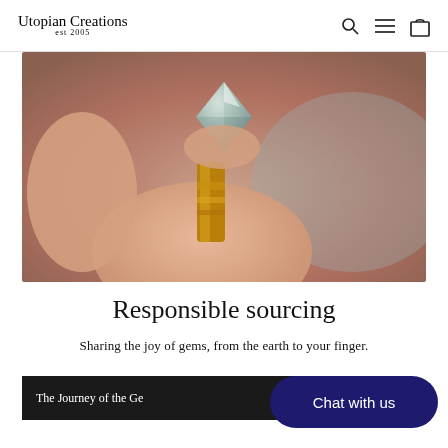Utopian Creations est 2005
[Figure (photo): Close-up photo of a hand holding a cut gemstone (diamond-shaped) being set into a gold ring mount]
Responsible sourcing
Sharing the joy of gems, from the earth to your finger.
The Journey of the Ge
Chat with us